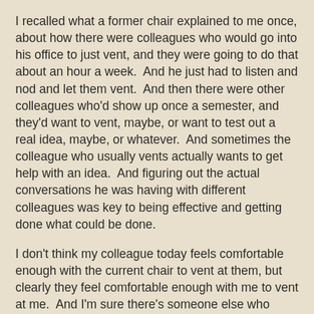I recalled what a former chair explained to me once, about how there were colleagues who would go into his office to just vent, and they were going to do that about an hour a week.  And he just had to listen and nod and let them vent.  And then there were other colleagues who'd show up once a semester, and they'd want to vent, maybe, or want to test out a real idea, maybe, or whatever.  And sometimes the colleague who usually vents actually wants to get help with an idea.  And figuring out the actual conversations he was having with different colleagues was key to being effective and getting done what could be done.
I don't think my colleague today feels comfortable enough with the current chair to vent at them, but clearly they feel comfortable enough with me to vent at me.  And I'm sure there's someone else who vents at the current chair and won't feel as comfortable venting to me.
So much to learn and keep track of.
I went to the chairs' meeting and felt like I needed a scorecard to keep track.  I think I need to listen really